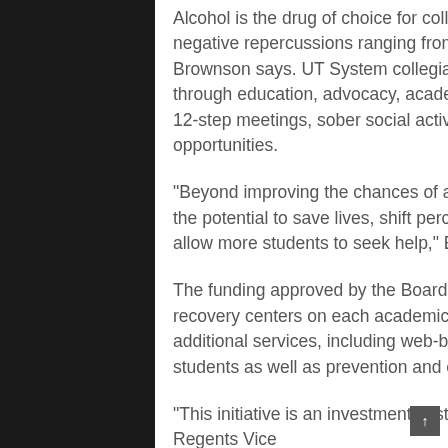Alcohol is the drug of choice for college students, and abuse can lead to any number of negative repercussions ranging from bad grades to physical injury and even death, Brownson says. UT System collegiate recovery programs strengthen students' sobriety through education, advocacy, academic support, recovery accountability, peer mentorship, 12-step meetings, sober social activities, relapse prevention and service/volunteer opportunities.
“Beyond improving the chances of academic success and retention, these programs have the potential to save lives, shift perceptions on campus and reduce stigma, which will in turn allow more students to seek help,” Brownson says.
The funding approved by the Board of Regents will provide three more years of funding for recovery centers on each academic campus. In addition, the funding also will pay for additional services, including web-based alcohol education programs for all incoming UT students as well as prevention and early intervention screening programs.
“This initiative is an investment in student success, student health and student safety,” Regents Vice